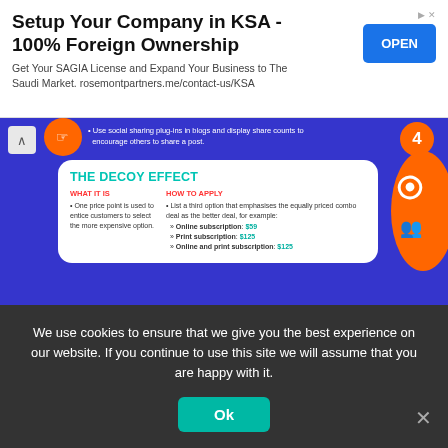[Figure (infographic): Advertisement banner: Setup Your Company in KSA - 100% Foreign Ownership with OPEN button]
Setup Your Company in KSA - 100% Foreign Ownership
Get Your SAGIA License and Expand Your Business to The Saudi Market. rosemontpartners.me/contact-us/KSA
[Figure (infographic): Infographic section showing 'The Decoy Effect' (#4) and 'Anchoring' (#5) pricing psychology techniques on blue background]
Use social sharing plug-ins in blogs and display share counts to encourage others to share a post.
THE DECOY EFFECT
WHAT IT IS
One price point is used to entice customers to select the more expensive option.
HOW TO APPLY
List a third option that emphasises the equally priced combo deal as the better deal, for example:
Online subscription: $59
Print subscription: $125
Online and print subscription: $125
ANCHORING
WHAT IT IS
A price is set for a product or service, and then a lower sale price is offered to create a sense of value.
HOW TO APPLY
List the initial price next to the new sale price.
We use cookies to ensure that we give you the best experience on our website. If you continue to use this site we will assume that you are happy with it.